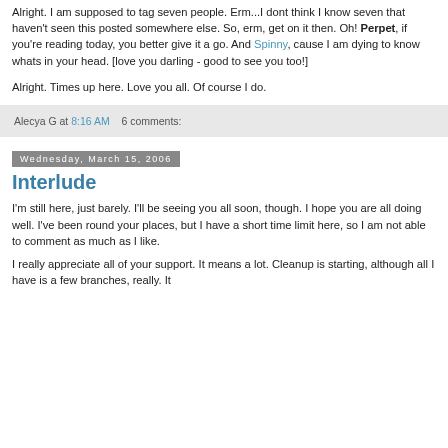Alright. I am supposed to tag seven people. Erm...I dont think I know seven that haven't seen this posted somewhere else. So, erm, get on it then. Oh! Perpet, if you're reading today, you better give it a go. And Spinny, cause I am dying to know whats in your head. [love you darling - good to see you too!]
Alright. Times up here. Love you all. Of course I do.
Alecya G at 8:16 AM    6 comments:
Wednesday, March 15, 2006
Interlude
I'm still here, just barely. I'll be seeing you all soon, though. I hope you are all doing well. I've been round your places, but I have a short time limit here, so I am not able to comment as much as I like.
I really appreciate all of your support. It means a lot. Cleanup is starting, although all I have is a few branches, really. It